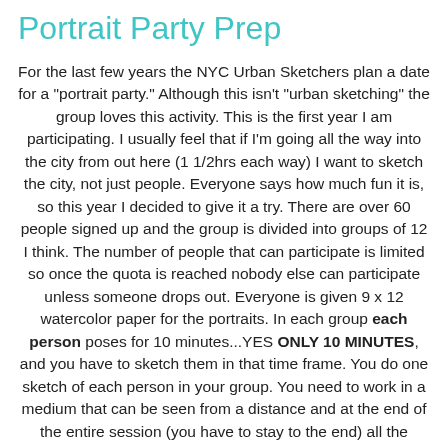Portrait Party Prep
For the last few years the NYC Urban Sketchers plan a date for a "portrait party." Although this isn't "urban sketching" the group loves this activity. This is the first year I am participating. I usually feel that if I'm going all the way into the city from out here (1 1/2hrs each way) I want to sketch the city, not just people. Everyone says how much fun it is, so this year I decided to give it a try. There are over 60 people signed up and the group is divided into groups of 12 I think. The number of people that can participate is limited so once the quota is reached nobody else can participate unless someone drops out. Everyone is given 9 x 12 watercolor paper for the portraits. In each group each person poses for 10 minutes...YES ONLY 10 MINUTES, and you have to sketch them in that time frame. You do one sketch of each person in your group. You need to work in a medium that can be seen from a distance and at the end of the entire session (you have to stay to the end) all the sketches are arranged in a grid for display.
It was suggested that newbies develop a strategy for how